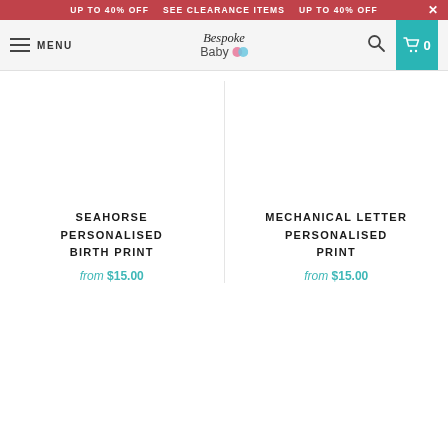UP TO 40% OFF   SEE CLEARANCE ITEMS   UP TO 40% OFF   ×
MENU   Bespoke Baby   [search icon]   [cart] 0
SEAHORSE PERSONALISED BIRTH PRINT
from $15.00
MECHANICAL LETTER PERSONALISED PRINT
from $15.00